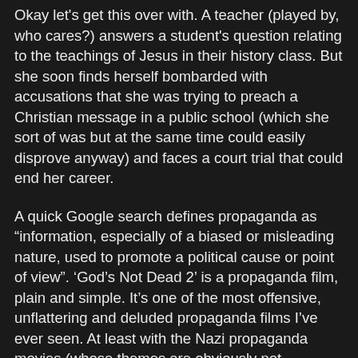Okay let's get this over with. A teacher (played by, who cares?) answers a student's question relating to the teachings of Jesus in their history class. But she soon finds herself bombarded with accusations that she was trying to preach a Christian message in a public school (which she sort of was but at the same time could easily disprove anyway) and faces a court trial that could end her career.
A quick Google search defines propaganda as “information, especially of a biased or misleading nature, used to promote a political cause or point of view”. ‘God’s Not Dead 2’ is a propaganda film, plain and simple. It’s one of the most offensive, unflattering and deluded propaganda films I’ve ever seen. At least with the Nazi propaganda movies (whose themes are obviously not endorsed by this blog, or anyone in a civilised society) had impressive editing techniques, but this is on another level entirely.
I’m not a religious person but if I was I feel as if I’d be outraged by this movie, especially if I was a Christian. It’s not about spreading messages of peace and forgiveness, it